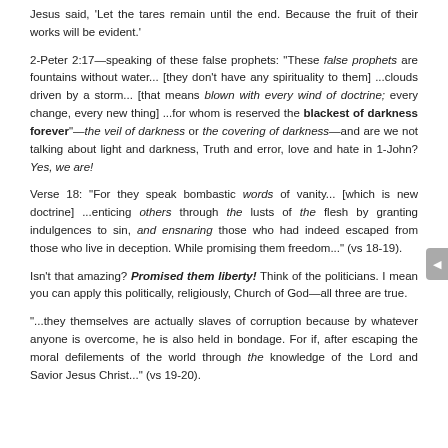Jesus said, 'Let the tares remain until the end. Because the fruit of their works will be evident.'
2-Peter 2:17—speaking of these false prophets: "These false prophets are fountains without water... [they don't have any spirituality to them] ...clouds driven by a storm... [that means blown with every wind of doctrine; every change, every new thing] ...for whom is reserved the blackest of darkness forever"—the veil of darkness or the covering of darkness—and are we not talking about light and darkness, Truth and error, love and hate in 1-John? Yes, we are!
Verse 18: "For they speak bombastic words of vanity... [which is new doctrine] ...enticing others through the lusts of the flesh by granting indulgences to sin, and ensnaring those who had indeed escaped from those who live in deception. While promising them freedom..." (vs 18-19).
Isn't that amazing? Promised them liberty! Think of the politicians. I mean you can apply this politically, religiously, Church of God—all three are true.
"...they themselves are actually slaves of corruption because by whatever anyone is overcome, he is also held in bondage. For if, after escaping the moral defilements of the world through the knowledge of the Lord and Savior Jesus Christ..." (vs 19-20).